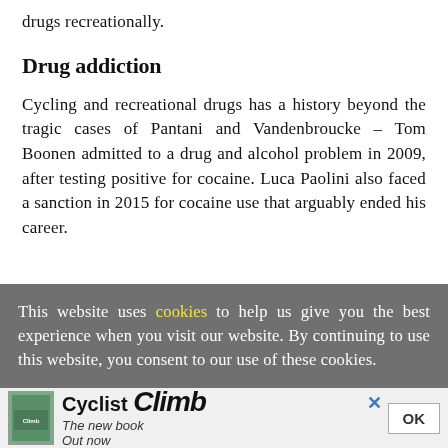drugs recreationally.
Drug addiction
Cycling and recreational drugs has a history beyond the tragic cases of Pantani and Vandenbroucke – Tom Boonen admitted to a drug and alcohol problem in 2009, after testing positive for cocaine. Luca Paolini also faced a sanction in 2015 for cocaine use that arguably ended his career.
This website uses cookies to help us give you the best experience when you visit our website. By continuing to use this website, you consent to our use of these cookies.
[Figure (other): Advertisement bar for 'Cyclist Climb – The new book Out now' with book cover image, close button (x), and OK button]